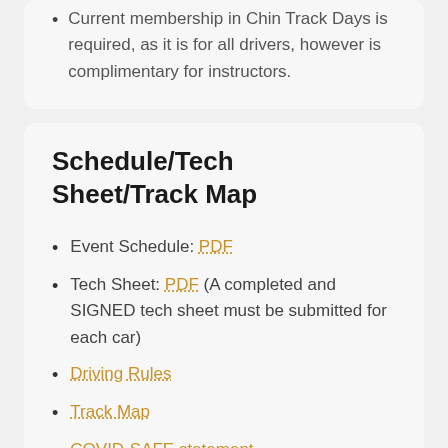Current membership in Chin Track Days is required, as it is for all drivers, however is complimentary for instructors.
Schedule/Tech Sheet/Track Map
Event Schedule: PDF
Tech Sheet: PDF  (A completed and SIGNED tech sheet must be submitted for each car)
Driving Rules
Track Map
COVID-SAFE statement